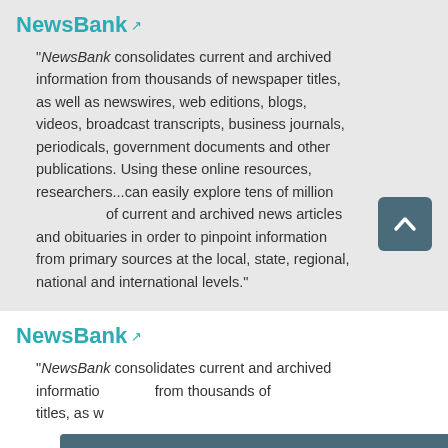NewsBank
"NewsBank consolidates current and archived information from thousands of newspaper titles, as well as newswires, web editions, blogs, videos, broadcast transcripts, business journals, periodicals, government documents and other publications. Using these online resources, researchers...can easily explore tens of millions of current and archived news articles and obituaries in order to pinpoint information from primary sources at the local, state, regional, national and international levels."
NewsBank
"NewsBank consolidates current and archived information from thousands of newspaper titles, as w
Questions? Contact us!